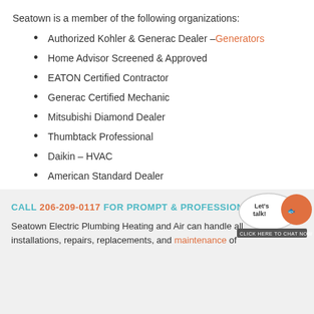Seatown is a member of the following organizations:
Authorized Kohler & Generac Dealer – Generators
Home Advisor Screened & Approved
EATON Certified Contractor
Generac Certified Mechanic
Mitsubishi Diamond Dealer
Thumbtack Professional
Daikin – HVAC
American Standard Dealer
[Figure (logo): Blue circle accessibility icon with person figure in white]
CALL 206-209-0117 FOR PROMPT & PROFESSIONAL SERVICE
Seatown Electric Plumbing Heating and Air can handle all installations, repairs, replacements, and maintenance of